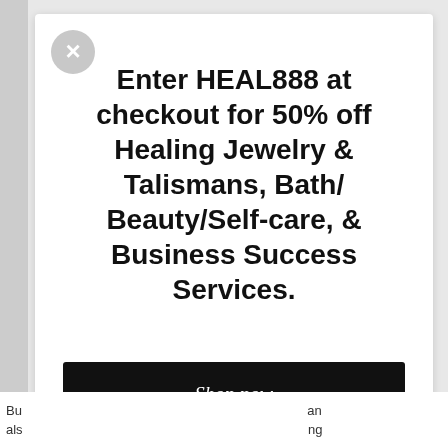[Figure (screenshot): A promotional popup/modal overlay on a website. It has a gray close (X) button in the top-left corner, bold promotional text in the center, and a black 'Shop now' button below the text.]
Enter HEAL888 at checkout for 50% off Healing Jewelry & Talismans, Bath/ Beauty/Self-care, & Business Success Services.
Shop now
Bu... an als... ng